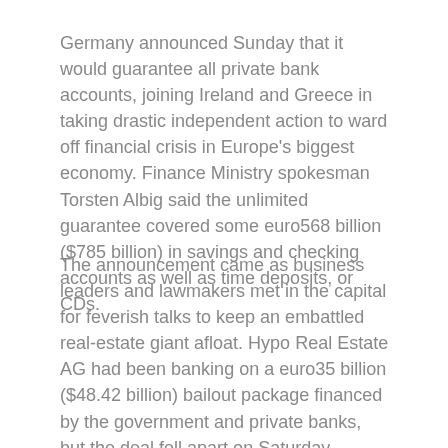Germany announced Sunday that it would guarantee all private bank accounts, joining Ireland and Greece in taking drastic independent action to ward off financial crisis in Europe's biggest economy. Finance Ministry spokesman Torsten Albig said the unlimited guarantee covered some euro568 billion ($785 billion) in savings and checking accounts as well as time deposits, or CDs.
The announcement came as business leaders and lawmakers met in the capital for feverish talks to keep an embattled real-estate giant afloat. Hypo Real Estate AG had been banking on a euro35 billion ($48.42 billion) bailout package financed by the government and private banks, but the deal fell apart on Saturday evening. Chancellor Angela Merkel vowed that she would not let the failure of any company disrupt the German economy.